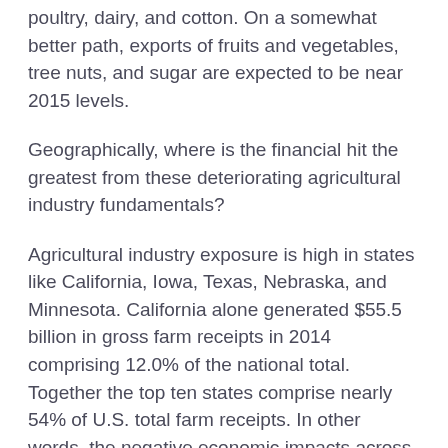poultry, dairy, and cotton. On a somewhat better path, exports of fruits and vegetables, tree nuts, and sugar are expected to be near 2015 levels.
Geographically, where is the financial hit the greatest from these deteriorating agricultural industry fundamentals?
Agricultural industry exposure is high in states like California, Iowa, Texas, Nebraska, and Minnesota. California alone generated $55.5 billion in gross farm receipts in 2014 comprising 12.0% of the national total. Together the top ten states comprise nearly 54% of U.S. total farm receipts. In other words, the negative economic impacts across the nation can be expected to be geographically concentrated – literally pockets of woe.
Farm real estate prices skyrocketed along with rising farm incomes, but now that trend is in full reverse. Through